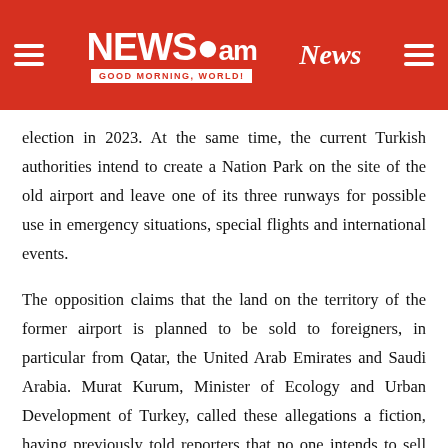NEWS.am | News
election in 2023. At the same time, the current Turkish authorities intend to create a Nation Park on the site of the old airport and leave one of its three runways for possible use in emergency situations, special flights and international events.
The opposition claims that the land on the territory of the former airport is planned to be sold to foreigners, in particular from Qatar, the United Arab Emirates and Saudi Arabia. Murat Kurum, Minister of Ecology and Urban Development of Turkey, called these allegations a fiction, having previously told reporters that no one intends to sell the land and no development is planned at all on the